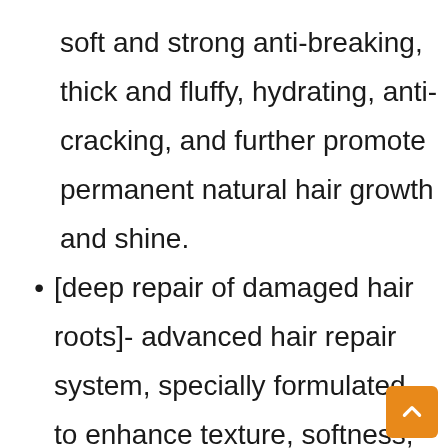soft and strong anti-breaking, thick and fluffy, hydrating, anti-cracking, and further promote permanent natural hair growth and shine.
[deep repair of damaged hair roots]- advanced hair repair system, specially formulated to enhance texture, softness, ease of combing, gloss, and provide additional damage repair. the hair mask provides powerful moisturizing c which can turn dry, dull hair into